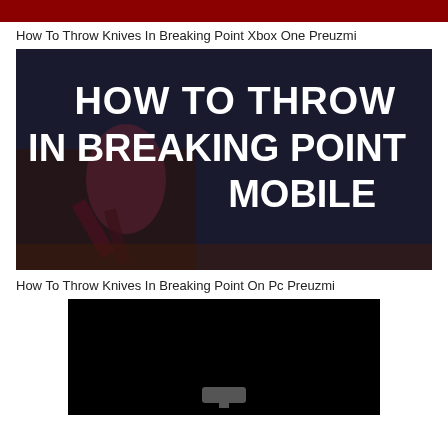[Figure (photo): Dark red/maroon colored image at the top of the page, partially cropped]
How To Throw Knives In Breaking Point Xbox One Preuzmi
[Figure (photo): Dark game screenshot with bold white text overlay reading HOW TO THROW IN BREAKING POINT MOBILE, with a game character figure on the left side]
How To Throw Knives In Breaking Point On Pc Preuzmi
[Figure (screenshot): Black game screenshot with a small icon at the bottom center]